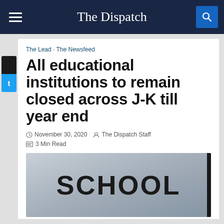The Dispatch
The Lead · The Newsfeed
All educational institutions to remain closed across J-K till year end
November 30, 2020  The Dispatch Staff
3 Min Read
[Figure (photo): Sign with the word SCHOOL in large bold black letters on a light background, with a dark vertical bar on the right edge]